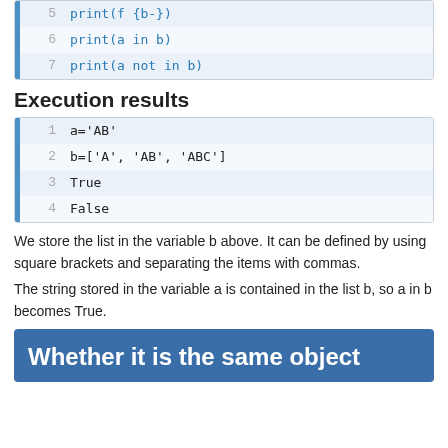[Figure (screenshot): Code block showing lines 5-7: print(f '{b-}'), print(a in b), print(a not in b)]
Execution results
[Figure (screenshot): Execution results block showing lines 1-4: a='AB', b=['A', 'AB', 'ABC'], True, False]
We store the list in the variable b above. It can be defined by using square brackets and separating the items with commas.
The string stored in the variable a is contained in the list b, so a in b becomes True.
Whether it is the same object